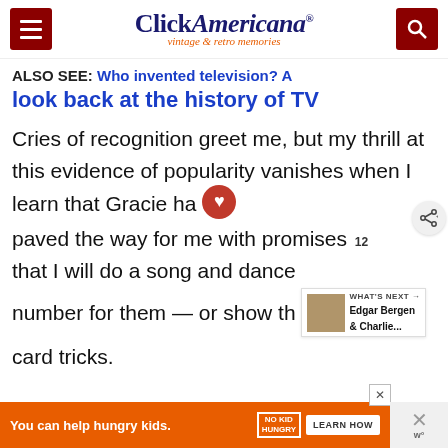Click Americana — vintage & retro memories
ALSO SEE: Who invented television? A look back at the history of TV
Cries of recognition greet me, but my thrill at this evidence of popularity vanishes when I learn that Gracie has paved the way for me with promises that I will do a song and dance number for them — or show them card tricks.
[Figure (screenshot): What's Next promo box with image thumbnail: Edgar Bergen & Charlie...]
[Figure (infographic): Ad bar: You can help hungry kids. No Kid Hungry. LEARN HOW]